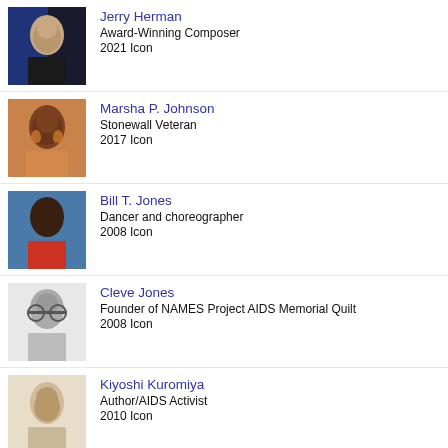Jerry Herman
Award-Winning Composer
2021 Icon
Marsha P. Johnson
Stonewall Veteran
2017 Icon
Bill T. Jones
Dancer and choreographer
2008 Icon
Cleve Jones
Founder of NAMES Project AIDS Memorial Quilt
2008 Icon
Kiyoshi Kuromiya
Author/AIDS Activist
2010 Icon